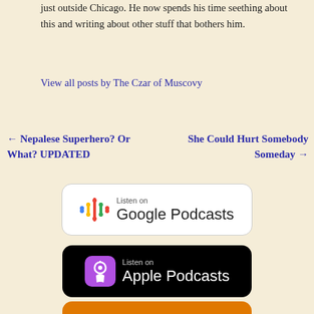just outside Chicago. He now spends his time seething about this and writing about other stuff that bothers him.
View all posts by The Czar of Muscovy
← Nepalese Superhero? Or What? UPDATED
She Could Hurt Somebody Someday →
[Figure (logo): Listen on Google Podcasts badge — white rounded rectangle with Google Podcasts colorful bar icon and text 'Listen on Google Podcasts']
[Figure (logo): Listen on Apple Podcasts badge — black rounded rectangle with purple podcast icon and text 'Listen on Apple Podcasts']
[Figure (logo): Subscribe by ... — orange rounded rectangle with partial overcast-style icon, text 'SUBSCRIBE BY']